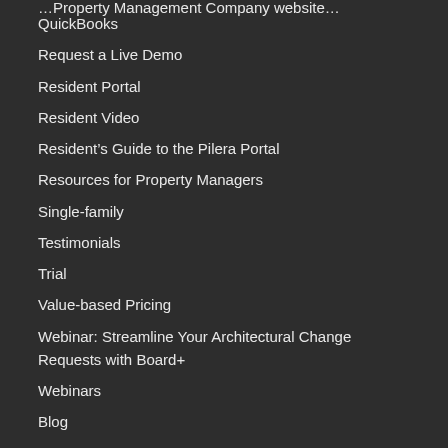QuickBooks
Request a Live Demo
Resident Portal
Resident Video
Resident's Guide to the Pilera Portal
Resources for Property Managers
Single-family
Testimonials
Trial
Value-based Pricing
Webinar: Streamline Your Architectural Change Requests with Board+
Webinars
Blog
Supported Languages